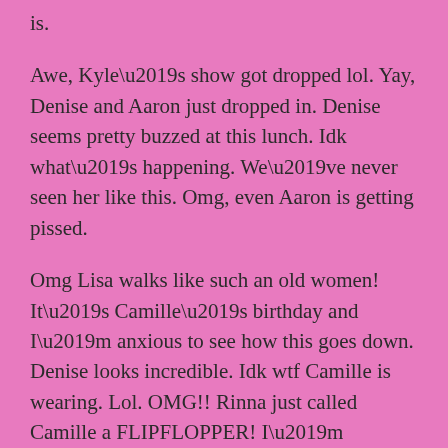is.
Awe, Kyle’s show got dropped lol. Yay, Denise and Aaron just dropped in. Denise seems pretty buzzed at this lunch. Idk what’s happening. We’ve never seen her like this. Omg, even Aaron is getting pissed.
Omg Lisa walks like such an old women! It’s Camille’s birthday and I’m anxious to see how this goes down. Denise looks incredible. Idk wtf Camille is wearing. Lol. OMG!! Rinna just called Camille a FLIPFLOPPER! I’m shocked. I love her. Lol.
Teddi, Dorit and Erika went outside privately to talk about the dog situation. Teddi is owning all her shit, which is good. Erika is making jokes about how